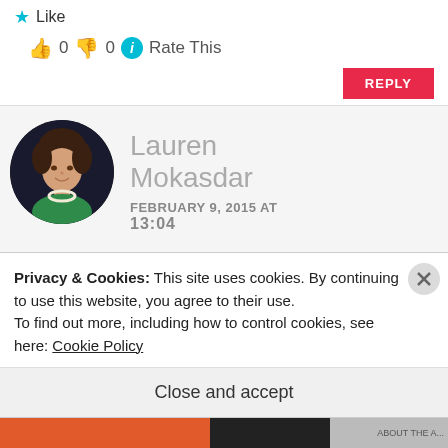★ Like
👍 0 👎 0 ℹ Rate This
REPLY
[Figure (photo): Circular profile photo of Lauren Mokasdar, a woman with dark hair wearing a green top and pearl necklace, against a dark background.]
Lauren Mokasdar
FEBRUARY 9, 2015 AT 13:04
Hey Mani,
Privacy & Cookies: This site uses cookies. By continuing to use this website, you agree to their use.
To find out more, including how to control cookies, see here: Cookie Policy
Close and accept